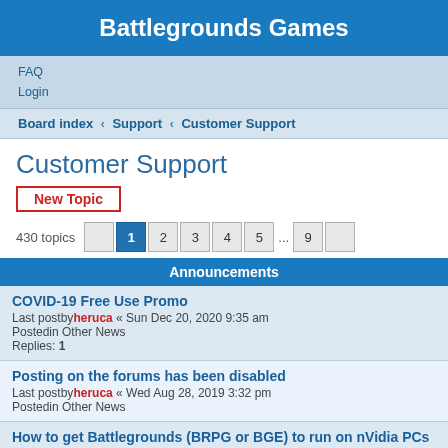Battlegrounds Games
FAQ
Login
Board index › Support › Customer Support
Customer Support
New Topic
430 topics  1 2 3 4 5 ... 9
Announcements
COVID-19 Free Use Promo
Last postby heruca « Sun Dec 20, 2020 9:35 am
Postedin Other News
Replies: 1
Posting on the forums has been disabled
Last postby heruca « Wed Aug 28, 2019 3:32 pm
Postedin Other News
How to get Battlegrounds (BRPG or BGE) to run on nVidia PCs
Last postby heruca « Sun Oct 13, 2019 7:43 pm
Replies: 6
Lobby Server Status: Down
Last postby heruca « Tue Jan 26, 2016 4:06 pm
Replies: 5